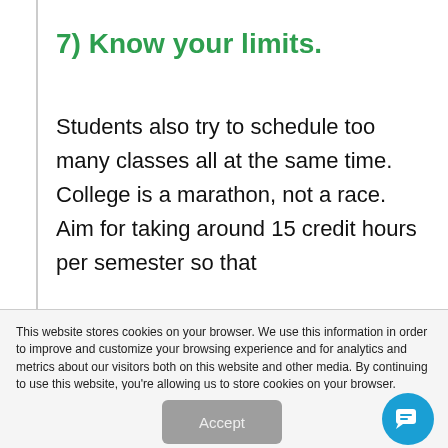7) Know your limits.
Students also try to schedule too many classes all at the same time. College is a marathon, not a race. Aim for taking around 15 credit hours per semester so that
This website stores cookies on your browser. We use this information in order to improve and customize your browsing experience and for analytics and metrics about our visitors both on this website and other media. By continuing to use this website, you're allowing us to store cookies on your browser.
Accept